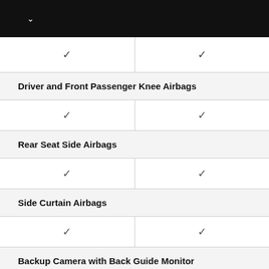| Feature | Col1 | Col2 |
| --- | --- | --- |
| ✓ | ✓ |
| Driver and Front Passenger Knee Airbags |
| ✓ | ✓ |
| Rear Seat Side Airbags |
| ✓ | ✓ |
| Side Curtain Airbags |
| ✓ | ✓ |
| Backup Camera with Back Guide Monitor |